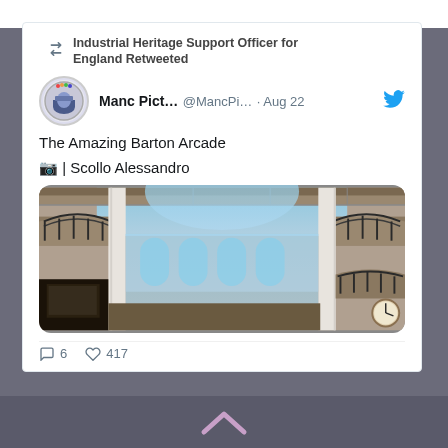Industrial Heritage Support Officer for England Retweeted
Manc Pict... @MancPi... · Aug 22
The Amazing Barton Arcade
📷 | Scollo Alessandro
[Figure (photo): Interior photograph of Barton Arcade, Manchester, showing ornate Victorian iron and glass multi-story arcade with curved balconies and a glass roof skylight]
6  417